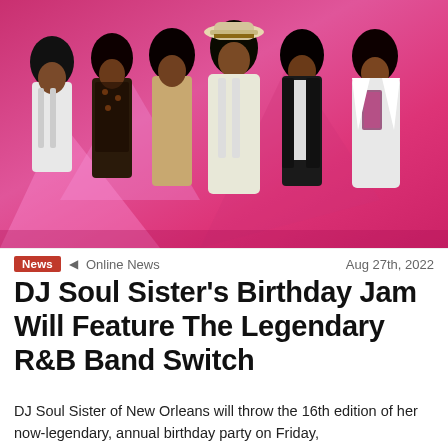[Figure (photo): A vintage photo of six Black men posing together against a pink background. They wear 1970s-style clothing including white suits, printed shirts, vests, and one man wears a white fedora hat. They have large afro hairstyles.]
News  ◄  Online News    Aug 27th, 2022
DJ Soul Sister's Birthday Jam Will Feature The Legendary R&B Band Switch
DJ Soul Sister of New Orleans will throw the 16th edition of her now-legendary, annual birthday party on Friday,